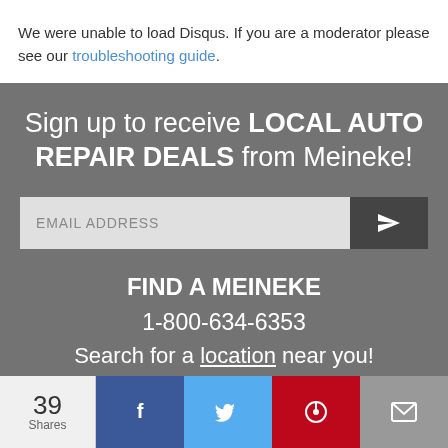We were unable to load Disqus. If you are a moderator please see our troubleshooting guide.
Sign up to receive LOCAL AUTO REPAIR DEALS from Meineke!
EMAIL ADDRESS [input field with send button]
FIND A MEINEKE
1-800-634-6353
Search for a location near you!
39 Shares [Facebook] [Twitter] [Pinterest] [Email]